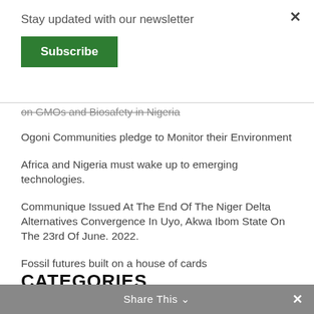×
Stay updated with our newsletter
Subscribe
on GMOs and Biosafety in Nigeria
Ogoni Communities pledge to Monitor their Environment
Africa and Nigeria must wake up to emerging technologies.
Communique Issued At The End Of The Niger Delta Alternatives Convergence In Uyo, Akwa Ibom State On The 23rd Of June. 2022.
Fossil futures built on a house of cards
CATEGORIES
Books
Share This ∨